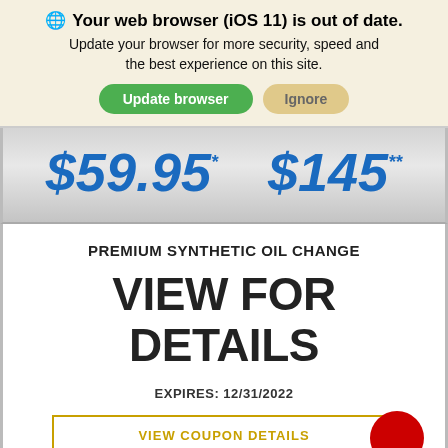Your web browser (iOS 11) is out of date. Update your browser for more security, speed and the best experience on this site. Update browser | Ignore
$59.95* $145**
PREMIUM SYNTHETIC OIL CHANGE
VIEW FOR DETAILS
EXPIRES: 12/31/2022
VIEW COUPON DETAILS
This site uses cookies. OK